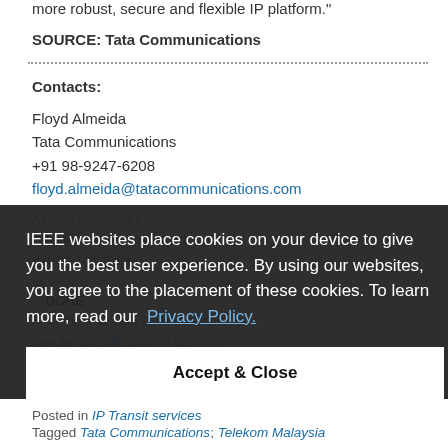more robust, secure and flexible IP platform."
SOURCE: Tata Communications
Contacts:
Floyd Almeida
Tata Communications
+91 98-9247-6208
floyd.almeida@tatacommunications.com
Azmee Binti Abdul Aziz
Telekom Malaysia Berhad
+603 2240 1613
jana.com
INDORE
A member of Tata Communications
bayulaks.publikasi@tm.com.my
IEEE websites place cookies on your device to give you the best user experience. By using our websites, you agree to the placement of these cookies. To learn more, read our Privacy Policy.
Accept & Close
Posted in IP Transit services
Tagged Tata Communications; Telekom Malaysia